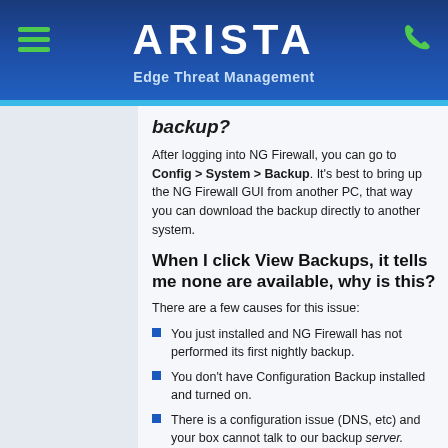ARISTA Edge Threat Management
backup?
After logging into NG Firewall, you can go to Config > System > Backup. It's best to bring up the NG Firewall GUI from another PC, that way you can download the backup directly to another system.
When I click View Backups, it tells me none are available, why is this?
There are a few causes for this issue:
You just installed and NG Firewall has not performed its first nightly backup.
You don't have Configuration Backup installed and turned on.
There is a configuration issue (DNS, etc) and your box cannot talk to our backup server.